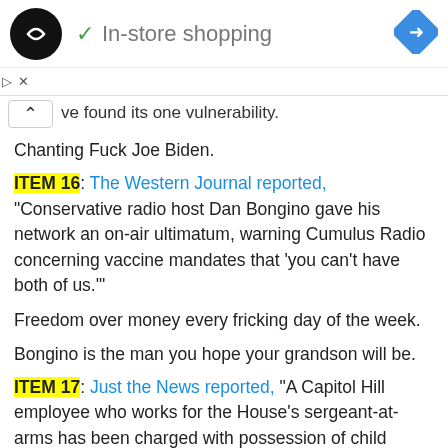[Figure (screenshot): Ad banner with circular black logo with double arrow icon, checkmark icon and 'In-store shopping' text, and blue diamond navigation icon on right]
ve found its one vulnerability.
Chanting Fuck Joe Biden.
ITEM 16: The Western Journal reported, "Conservative radio host Dan Bongino gave his network an on-air ultimatum, warning Cumulus Radio concerning vaccine mandates that 'you can't have both of us.'"
Freedom over money every fricking day of the week.
Bongino is the man you hope your grandson will be.
ITEM 17: Just the News reported, "A Capitol Hill employee who works for the House's sergeant-at-arms has been charged with possession of child pornography, according to police.
"The employee, Stefan Bieret, of northern Virginia, has been